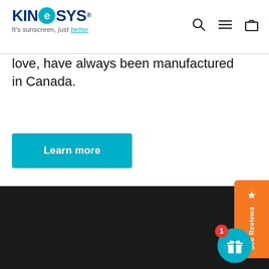KINESYS - It's sunscreen, just better
love, have always been manufactured in Canada.
Learn more
[Figure (screenshot): Dark/black section at bottom of page]
[Figure (infographic): Orange See Reviews vertical tab on right side]
[Figure (infographic): Teal gift icon button with red badge showing number 1]